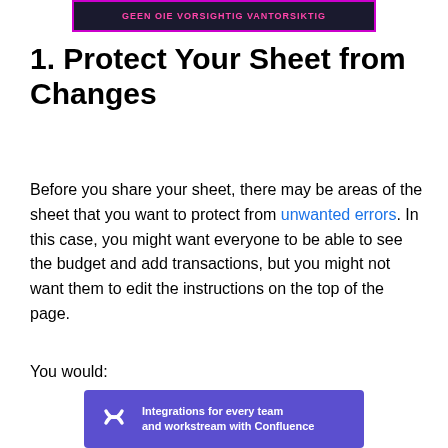GEEN OIE VORSIGHTIG VANTORSIKTIG
1. Protect Your Sheet from Changes
Before you share your sheet, there may be areas of the sheet that you want to protect from unwanted errors. In this case, you might want everyone to be able to see the budget and add transactions, but you might not want them to edit the instructions on the top of the page.
You would:
Integrations for every team and workstream with Confluence